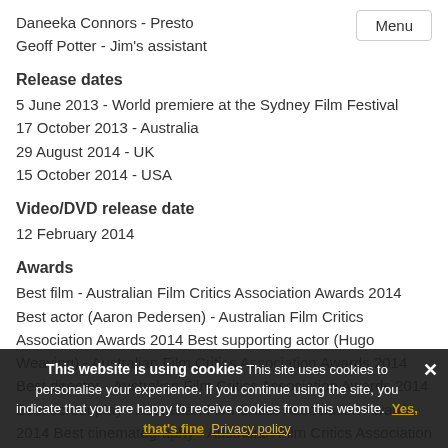Daneeka Connors - Presto
Geoff Potter - Jim's assistant
Release dates
5 June 2013 - World premiere at the Sydney Film Festival
17 October 2013 - Australia
29 August 2014 - UK
15 October 2014 - USA
Video/DVD release date
12 February 2014
Awards
Best film - Australian Film Critics Association Awards 2014 Best actor (Aaron Pedersen) - Australian Film Critics Association Awards 2014 Best supporting actor (Hugo Weaving) - Australian Film Critics Association Awards 2014 Best director - Australian Film Critics Association Awards 2014 Best screenplay - Australian Film Critics Association Awards 2014 Best cinematography - Australian Film Critics Association Awards 2014
Rating
This website is using cookies This site uses cookies to personalise your experience. If you continue using the site, you indicate that you are happy to receive cookies from this website. Yes, that's fine Privacy policy